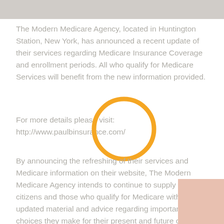[Figure (photo): Photo strip at top of page, partially visible, grayscale/muted]
The Modern Medicare Agency, located in Huntington Station, New York, has announced a recent update of their services regarding Medicare Insurance Coverage and enrollment periods. All who qualify for Medicare Services will benefit from the new information provided.
For more details please visit: http://www.paulbinsurance.com/
[Figure (illustration): Orange circle/ring overlay in center of page]
By announcing the refreshing of their services and Medicare information on their website, The Modern Medicare Agency intends to continue to supply senior citizens and those who qualify for Medicare with updated material and advice regarding important choices they make for their present and future care.
[Figure (photo): Partial photo in bottom-right corner, muted salmon/pink tones]